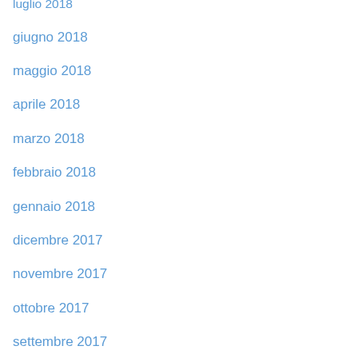luglio 2018
giugno 2018
maggio 2018
aprile 2018
marzo 2018
febbraio 2018
gennaio 2018
dicembre 2017
novembre 2017
ottobre 2017
settembre 2017
agosto 2017
luglio 2017
giugno 2017